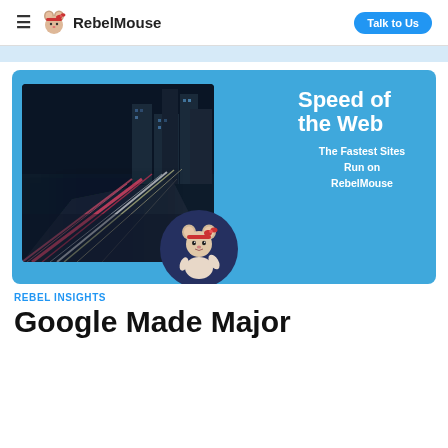RebelMouse — Talk to Us
[Figure (illustration): Hero banner with blue background showing a city night traffic light trails photo on the left, large white bold text 'Speed of the Web' and 'The Fastest Sites Run on RebelMouse' on the right, and a circular dark blue badge with RebelMouse mouse mascot in the center-bottom]
REBEL INSIGHTS
Google Made Major